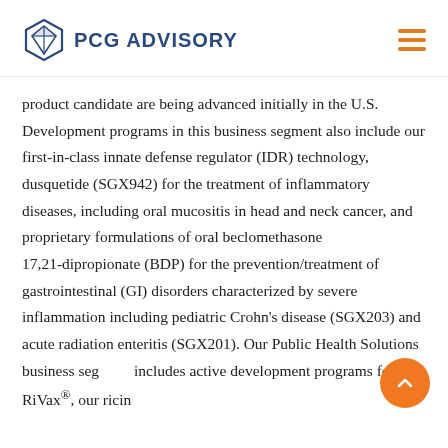PCG ADVISORY
product candidate are being advanced initially in the U.S. Development programs in this business segment also include our first-in-class innate defense regulator (IDR) technology, dusquetide (SGX942) for the treatment of inflammatory diseases, including oral mucositis in head and neck cancer, and proprietary formulations of oral beclomethasone 17,21-dipropionate (BDP) for the prevention/treatment of gastrointestinal (GI) disorders characterized by severe inflammation including pediatric Crohn's disease (SGX203) and acute radiation enteritis (SGX201). Our Public Health Solutions business segment includes active development programs for RiVax®, our ricin